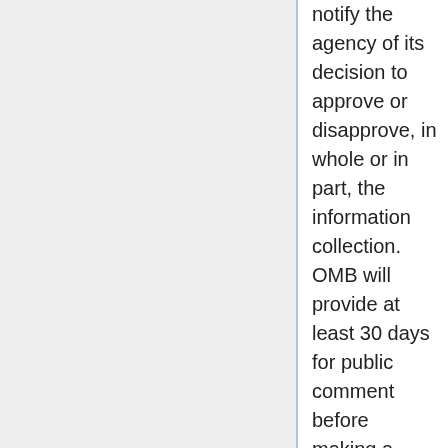notify the agency of its decision to approve or disapprove, in whole or in part, the information collection. OMB will provide at least 30 days for public comment before making a decision. 5 C.F.R. § 1320.10(b).